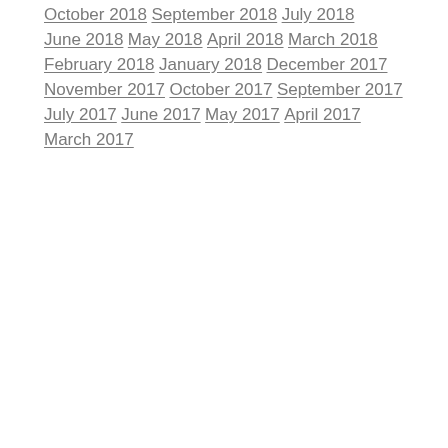October 2018
September 2018
July 2018
June 2018
May 2018
April 2018
March 2018
February 2018
January 2018
December 2017
November 2017
October 2017
September 2017
July 2017
June 2017
May 2017
April 2017
March 2017